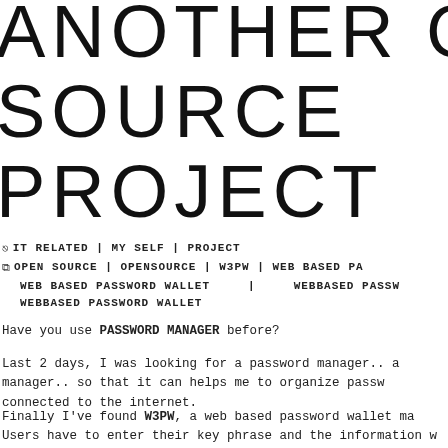ANOTHER OPEN SOURCE PROJECT
IT RELATED | MY SELF | PROJECT
OPEN SOURCE | OPENSOURCE | W3PW | WEB BASED PA... WEB BASED PASSWORD WALLET | WEBBASED PASSW... WEBBASED PASSWORD WALLET
Have you use PASSWORD MANAGER before?
Last 2 days, I was looking for a password manager.. a manager.. so that it can helps me to organize passw... connected to the internet.
Finally I've found W3PW, a web based password wallet ma... Users have to enter their key phrase and the information w... the key phrase and finally the encrypted information ... Database.